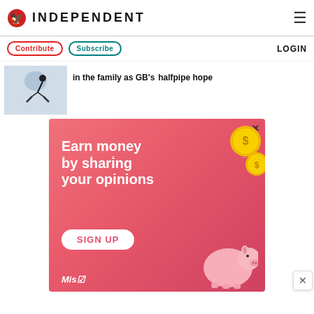INDEPENDENT
Contribute   Subscribe   LOGIN
[Figure (photo): Skier performing a halfpipe trick in the air]
in the family as GB's halfpipe hope
[Figure (infographic): Advertisement banner: Earn money by sharing your opinions. Sign Up. Miso logo with piggy bank and gold coins graphic.]